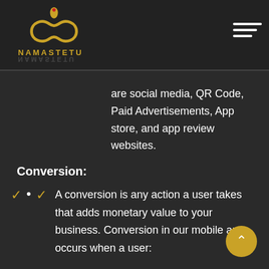NAMASTETU
are social media, QR Code, Paid Advertisements, App store, and app review websites.
Conversion:
A conversion is any action a user takes that adds monetary value to your business. Conversion in our mobile app occurs when a user: